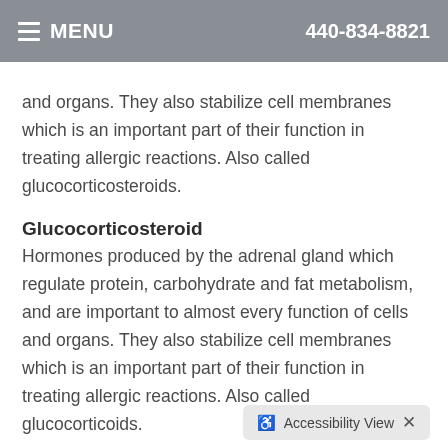MENU  440-834-8821
and organs. They also stabilize cell membranes which is an important part of their function in treating allergic reactions. Also called glucocorticosteroids.
Glucocorticosteroid
Hormones produced by the adrenal gland which regulate protein, carbohydrate and fat metabolism, and are important to almost every function of cells and organs. They also stabilize cell membranes which is an important part of their function in treating allergic reactions. Also called glucocorticoids.
Glucosamine
One of the building blocks the body uses to make new cartilage.